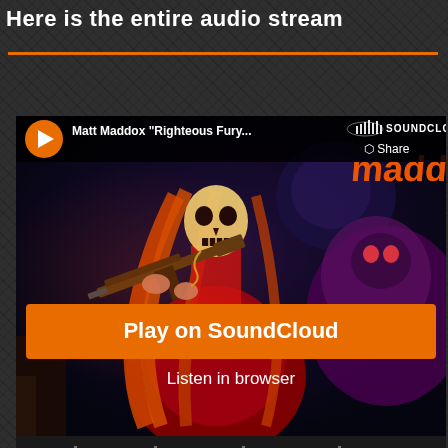Here is the entire audio stream
[Figure (screenshot): SoundCloud embedded player showing Matt Maddox 'Righteous Fury...' track with album art featuring a skeletal female figure in red holding an assault rifle with stylized Maddox logo text. Player shows Play on SoundCloud button and Listen in browser option, with audio waveform at bottom showing 57:49 duration.]